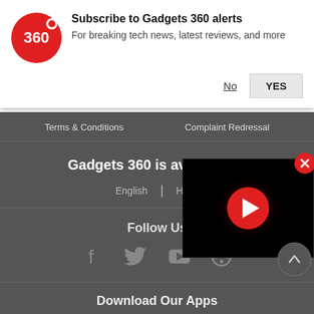[Figure (logo): Gadgets 360 red circular logo with 360 text]
Subscribe to Gadgets 360 alerts
For breaking tech news, latest reviews, and more
No
YES
Terms & Conditions
Complaint Redressal
Gadgets 360 is available in
English | Hindi
Follow Us
[Figure (illustration): Social media icons: Facebook, Twitter, YouTube, and another icon]
[Figure (screenshot): Video overlay with red play button on black background]
Download Our Apps
[Figure (illustration): Google Play and App Store download badges]